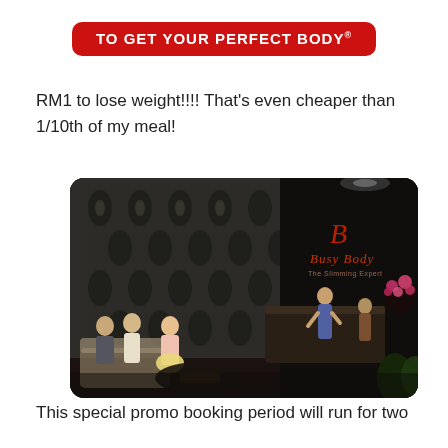[Figure (logo): Red banner logo with white text reading 'TO GET YOUR PERFECT BODY' with decorative elements]
RM1 to lose weight!!!! That’s even cheaper than 1/10th of my meal!
[Figure (photo): Interior of Busy Body slimming salon with patterned wallpaper, reception desk, staff member at counter, and customers seated in waiting area with flowers and dark decor]
This special promo booking period will run for two